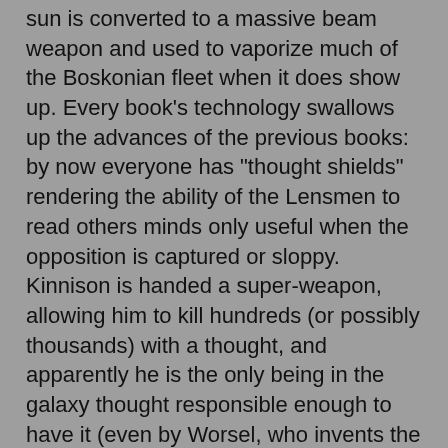sun is converted to a massive beam weapon and used to vaporize much of the Boskonian fleet when it does show up. Every book's technology swallows up the advances of the previous books: by now everyone has "thought shields" rendering the ability of the Lensmen to read others minds only useful when the opposition is captured or sloppy. Kinnison is handed a super-weapon, allowing him to kill hundreds (or possibly thousands) with a thought, and apparently he is the only being in the galaxy thought responsible enough to have it (even by Worsel, who invents the thing). And so on.
And then, as usual, the story changes from Star Wars to Miami Vice as Kinnison returns to tracking down the drug traffickers that Boskone, for some reason, continues to rely upon to form the underpinnings of their operations in the "First Galaxy" (i.e. the Milky Way). His investigations take him to the "exotic" planet of Lyrane, ruled by a matriarchy of women indistinguishable from human women save for the fact that they eschew the company of men, go about naked, have advanced mental abilities, and apparently have no art, literature, music, or other cultural assets. Presumably when women are bereft of the uplifting association with men, they